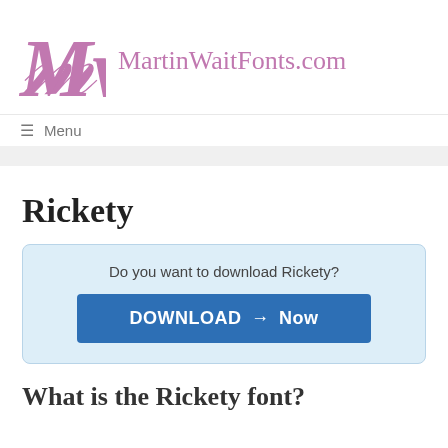MartinWaitFonts.com
≡ Menu
Rickety
Do you want to download Rickety?
DOWNLOAD → Now
What is the Rickety font?